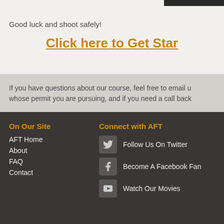Good luck and shoot safely!
Click here to Get Star
If you have questions about our course, feel free to email u whose permit you are pursuing, and if you need a call back
On Our Site
AFT Home
About
FAQ
Contact
Connect with AFT
Follow Us On Twitter
Become A Facebook Fan
Watch Our Movies